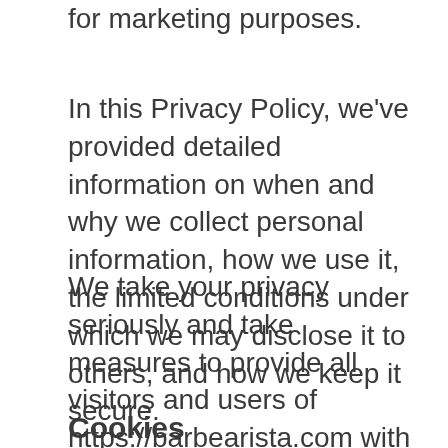for marketing purposes.
In this Privacy Policy, we've provided detailed information on when and why we collect personal information, how we use it, the limited conditions under which we may disclose it to others, and how we keep it secure.
We take your privacy seriously and take measures to provide all visitors and users of https://barbearista.com with a safe and secure environment.
Cookies